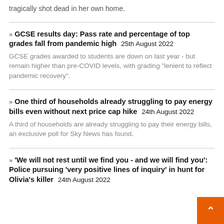tragically shot dead in her own home.
GCSE results day: Pass rate and percentage of top grades fall from pandemic high  25th August 2022
GCSE grades awarded to students are down on last year - but remain higher than pre-COVID levels, with grading "lenient to reflect pandemic recovery".
One third of households already struggling to pay energy bills even without next price cap hike  24th August 2022
A third of households are already struggling to pay their energy bills, an exclusive poll for Sky News has found.
'We will not rest until we find you - and we will find you': Police pursuing 'very positive lines of inquiry' in hunt for Olivia's killer  24th August 2022